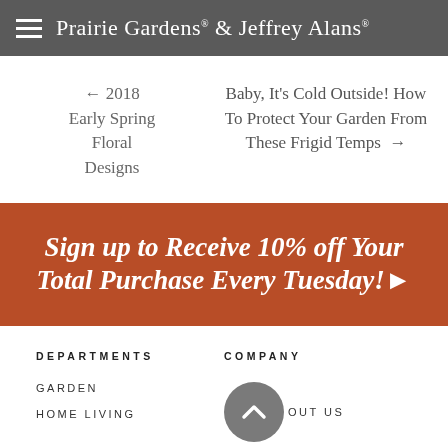Prairie Gardens & Jeffrey Alans
← 2018 Early Spring Floral Designs
Baby, It's Cold Outside! How To Protect Your Garden From These Frigid Temps →
[Figure (infographic): Orange promotional banner with italic bold white text: Sign up to Receive 10% off Your Total Purchase Every Tuesday!]
DEPARTMENTS
COMPANY
GARDEN
HOME LIVING
ABOUT US
JOIN OUR TEAM